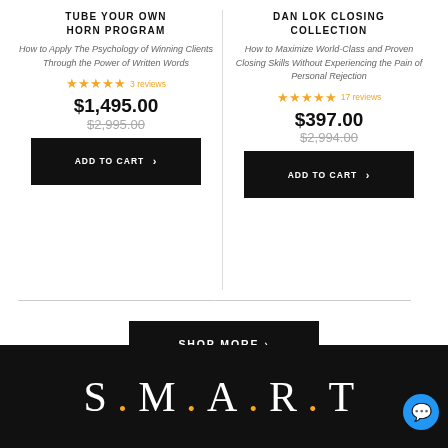TUBE YOUR OWN HORN PROGRAM
How to Apply The Psychology of Winning Clients Through the Power of Written Words
★★★★★ 3 reviews
$1,495.00 $2,995.00
ADD TO CART >
DAN LOK CLOSING COLLECTION
How to Maximize World-Class and Proven Closing Skills Without Experiencing the Pain of Personal Rejection
★★★★★ 17 reviews
$397.00 $2,994.00
ADD TO CART >
SHOP MORE >
[Figure (logo): S.M.A.R.T. logo in white serif text on black background]